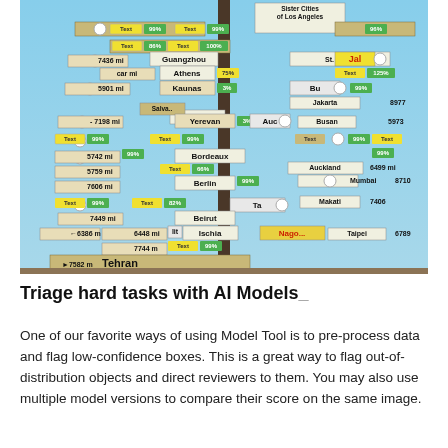[Figure (photo): A photograph of a signpost with many directional signs pointing to various cities worldwide (Guangzhou, Tehran, Berlin, Beirut, Mumbai, Auckland, Jakarta, Taipei, etc.) with AI model annotation overlays showing detection boxes labeled 'Text' with confidence scores like 99%, 100%, 96%, 75%, etc., and white circular markers indicating annotated regions.]
Triage hard tasks with AI Models
One of our favorite ways of using Model Tool is to pre-process data and flag low-confidence boxes. This is a great way to flag out-of-distribution objects and direct reviewers to them. You may also use multiple model versions to compare their score on the same image.